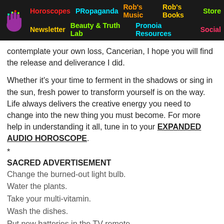Horoscopes | PRopaganda | Rob's Music | Rob's Books | Store | Newsletter | Beauty & Truth Lab | Pronoia Resources | Social
contemplate your own loss, Cancerian, I hope you will find the release and deliverance I did.
Whether it's your time to ferment in the shadows or sing in the sun, fresh power to transform yourself is on the way. Life always delivers the creative energy you need to change into the new thing you must become. For more help in understanding it all, tune in to your EXPANDED AUDIO HOROSCOPE.
*
SACRED ADVERTISEMENT
Change the burned-out light bulb.
Water the plants.
Take your multi-vitamin.
Wash the dishes.
Put new batteries in the TV remote.
Bow down to the Great Mystery.